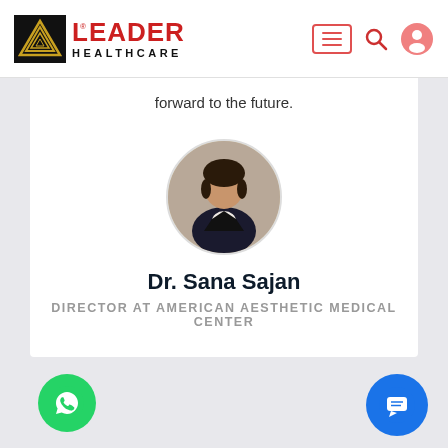[Figure (logo): Leader Healthcare logo with pyramid icon and red LEADER text and black HEALTHCARE text]
forward to the future.
[Figure (photo): Circular profile photo of Dr. Sana Sajan, a woman in a black blazer]
Dr. Sana Sajan
DIRECTOR AT AMERICAN AESTHETIC MEDICAL CENTER